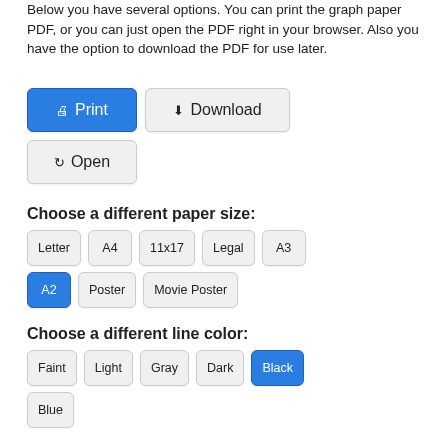Below you have several options. You can print the graph paper PDF, or you can just open the PDF right in your browser. Also you have the option to download the PDF for use later.
[Figure (screenshot): Three buttons: Print (blue), Download (gray), Open (gray)]
Choose a different paper size:
[Figure (screenshot): Paper size buttons: Letter, A4, 11x17, Legal, A3 (row 1); A2 (blue/selected), Poster, Movie Poster (row 2)]
Choose a different line color:
[Figure (screenshot): Line color buttons: Faint, Light, Gray, Dark, Black (blue/selected) (row 1); Blue (row 2)]